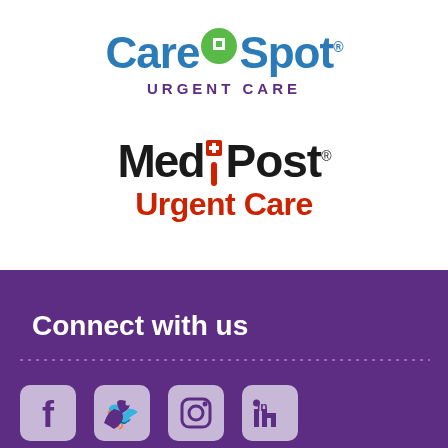[Figure (logo): CareSpot Urgent Care logo with blue text and green map pin icon with cross]
[Figure (logo): MedPost Urgent Care logo with black and red text, exclamation mark in red]
Connect with us
[Figure (illustration): Social media icons: Facebook, Twitter, Instagram, LinkedIn on purple background]